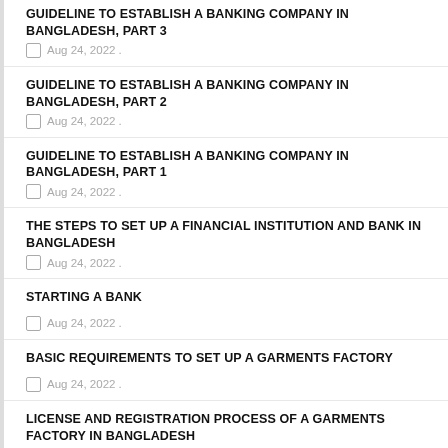GUIDELINE TO ESTABLISH A BANKING COMPANY IN BANGLADESH, PART 3
Aug 24, 2022 .
GUIDELINE TO ESTABLISH A BANKING COMPANY IN BANGLADESH, PART 2
Aug 24, 2022 .
GUIDELINE TO ESTABLISH A BANKING COMPANY IN BANGLADESH, PART 1
Aug 24, 2022 .
THE STEPS TO SET UP A FINANCIAL INSTITUTION AND BANK IN BANGLADESH
Aug 24, 2022 .
STARTING A BANK
Aug 24, 2022 .
BASIC REQUIREMENTS TO SET UP A GARMENTS FACTORY
Aug 24, 2022 .
LICENSE AND REGISTRATION PROCESS OF A GARMENTS FACTORY IN BANGLADESH
Aug 24, 2022 .